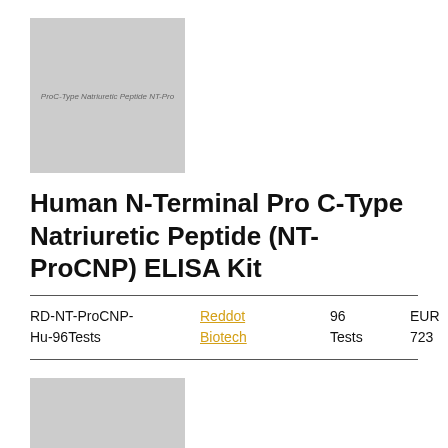[Figure (photo): Product image placeholder for Human N-Terminal Pro C-Type Natriuretic Peptide ELISA Kit, grey rectangle with watermark text]
Human N-Terminal Pro C-Type Natriuretic Peptide (NT-ProCNP) ELISA Kit
| SKU | Brand | Quantity | Price |
| --- | --- | --- | --- |
| RD-NT-ProCNP-Hu-96Tests | Reddot Biotech | 96 Tests | EUR 723 |
[Figure (photo): Second product image placeholder, grey rectangle with watermark text]
Human N-Terminal Pro C-...